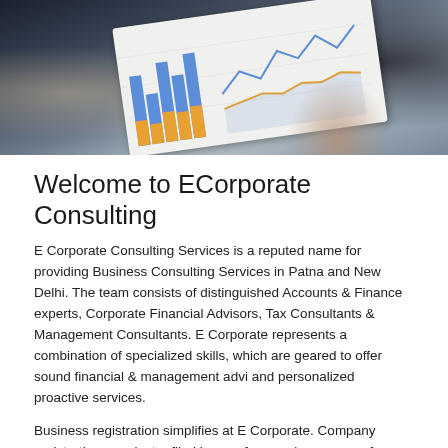[Figure (photo): Person holding financial report/chart documents, blurry office background]
Welcome to ECorporate Consulting
E Corporate Consulting Services is a reputed name for providing Business Consulting Services in Patna and New Delhi. The team consists of distinguished Accounts & Finance experts, Corporate Financial Advisors, Tax Consultants & Management Consultants. E Corporate represents a combination of specialized skills, which are geared to offer sound financial & management advi and personalized proactive services.
Business registration simplifies at E Corporate. Company registrations are just e-filed by one form and ease way of incorporation. Apart from these, LLP registration, One Person